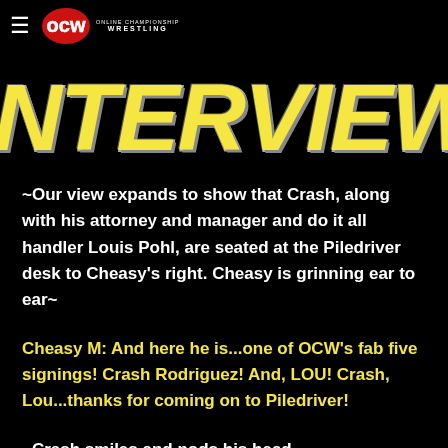OCW Online Championship Wrestling
INTERVIEW
~Our view expands to show that Crash, along with his attorney and manager and do it all handler Louis Pohl, are seated at the Piledriver desk to Cheasy's right. Cheasy is grinning ear to ear~
Cheasy M: And here he is...one of OCW's fab five signings! Crash Rodriguez! And, LOU! Crash, Lou...thanks for coming on to Piledriver!
~Crash smiles and nods his head~